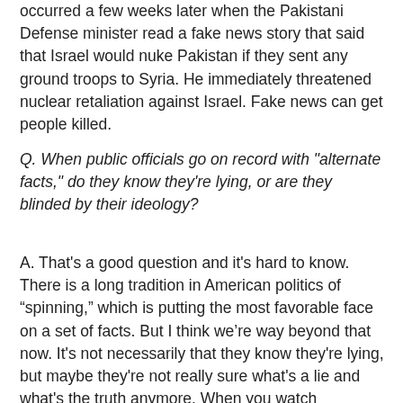occurred a few weeks later when the Pakistani Defense minister read a fake news story that said that Israel would nuke Pakistan if they sent any ground troops to Syria. He immediately threatened nuclear retaliation against Israel. Fake news can get people killed.
Q. When public officials go on record with "alternate facts," do they know they're lying, or are they blinded by their ideology?
A. That's a good question and it's hard to know. There is a long tradition in American politics of “spinning,” which is putting the most favorable face on a set of facts. But I think we’re way beyond that now. It's not necessarily that they know they're lying, but maybe they're not really sure what's a lie and what's the truth anymore. When you watch Kellyanne Conway , I think that most of the time she’s lying and she knows it. She’s too good at what she does to avoid the truth so assiduously. It must be a deliberate campaign of obfuscation. That said, some have argued that the best way to deceive others is to deceive yourself first. We saw this back on election night in 2008. Remember when Karl Rove